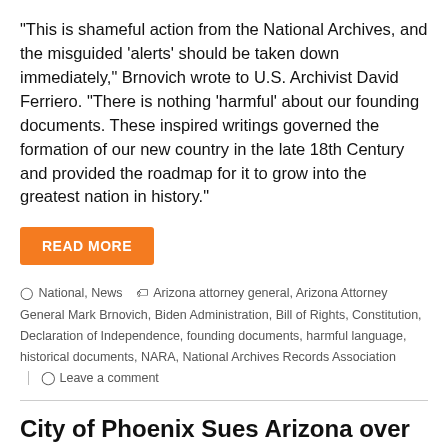“This is shameful action from the National Archives, and the misguided ‘alerts’ should be taken down immediately,” Brnovich wrote to U.S. Archivist David Ferriero. “There is nothing ‘harmful’ about our founding documents. These inspired writings governed the formation of our new country in the late 18th Century and provided the roadmap for it to grow into the greatest nation in history.”
READ MORE
National, News   Arizona attorney general, Arizona Attorney General Mark Brnovich, Biden Administration, Bill of Rights, Constitution, Declaration of Independence, founding documents, harmful language, historical documents, NARA, National Archives Records Association   Leave a comment
City of Phoenix Sues Arizona over New Laws on Police Review Boards and Broadening Attorney General’s Investigative Powers